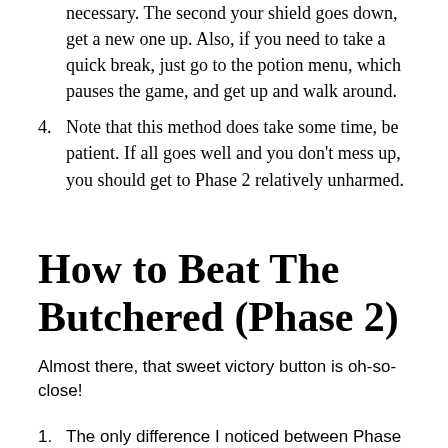necessary. The second your shield goes down, get a new one up. Also, if you need to take a quick break, just go to the potion menu, which pauses the game, and get up and walk around.
4. Note that this method does take some time, be patient. If all goes well and you don't mess up, you should get to Phase 2 relatively unharmed.
How to Beat The Butchered (Phase 2)
Almost there, that sweet victory button is oh-so-close!
1. The only difference I noticed between Phase 1 and Phase 2